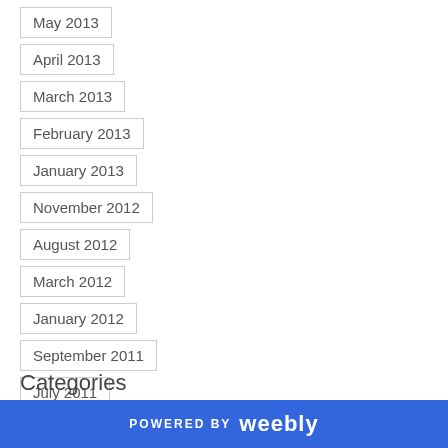May 2013
April 2013
March 2013
February 2013
January 2013
November 2012
August 2012
March 2012
January 2012
September 2011
July 2011
Categories
POWERED BY weebly